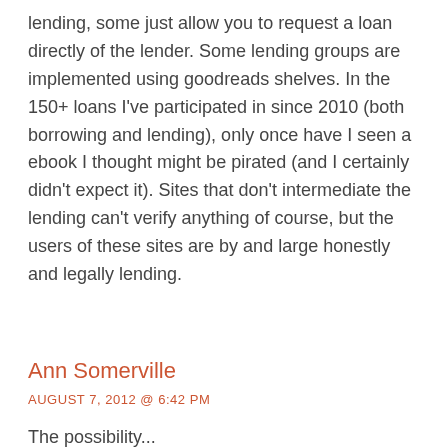lending, some just allow you to request a loan directly of the lender. Some lending groups are implemented using goodreads shelves. In the 150+ loans I've participated in since 2010 (both borrowing and lending), only once have I seen a ebook I thought might be pirated (and I certainly didn't expect it). Sites that don't intermediate the lending can't verify anything of course, but the users of these sites are by and large honestly and legally lending.
Ann Somerville
AUGUST 7, 2012 @ 6:42 PM
The possibility...